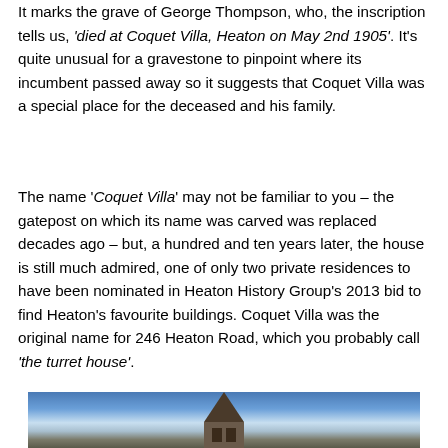It marks the grave of George Thompson, who, the inscription tells us, 'died at Coquet Villa, Heaton on May 2nd 1905'. It's quite unusual for a gravestone to pinpoint where its incumbent passed away so it suggests that Coquet Villa was a special place for the deceased and his family.
The name 'Coquet Villa' may not be familiar to you – the gatepost on which its name was carved was replaced decades ago – but, a hundred and ten years later, the house is still much admired, one of only two private residences to have been nominated in Heaton History Group's 2013 bid to find Heaton's favourite buildings. Coquet Villa was the original name for 246 Heaton Road, which you probably call 'the turret house'.
[Figure (photo): Partial photograph showing the turret of a building against a blue sky with clouds, cropped at the bottom of the page]